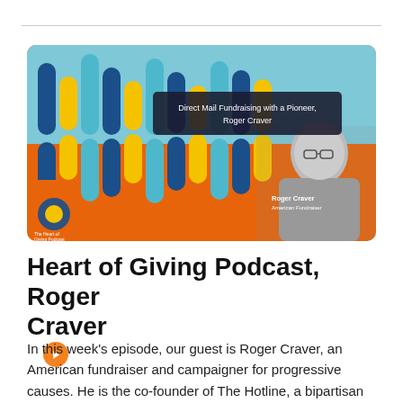[Figure (illustration): Podcast episode thumbnail for 'Heart of Giving Podcast' featuring a colorful graphic with vertical pill-shaped bars in teal, blue, yellow, and orange on an orange background. A dark semi-transparent banner reads 'Direct Mail Fundraising with a Pioneer, Roger Craver'. A black-and-white photo of Roger Craver (older man with glasses) appears on the right side. Bottom left shows The Heart of Giving Podcast logo.]
Heart of Giving Podcast, Roger Craver ▶
In this week's episode, our guest is Roger Craver, an American fundraiser and campaigner for progressive causes. He is the co-founder of The Hotline, a bipartisan online briefing on American politics, and the